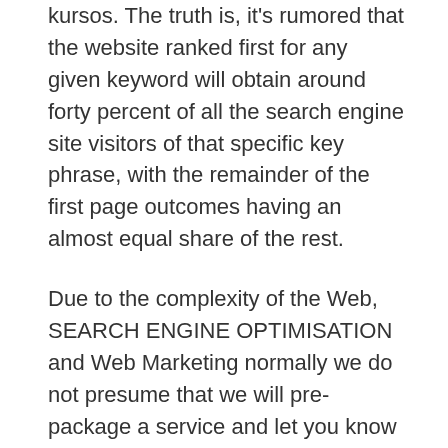kursos. The truth is, it's rumored that the website ranked first for any given keyword will obtain around forty percent of all the search engine site visitors of that specific key phrase, with the remainder of the first page outcomes having an almost equal share of the rest.
Due to the complexity of the Web, SEARCH ENGINE OPTIMISATION and Web Marketing normally we do not presume that we will pre-package a service and let you know it'll work in all circumstances. Search Engine Advertising can apply to two features of web advertising.
To cease opportunity, the agency ought to summarize their present clients' personas and buy journey from this they're able to deduce their digital advertising